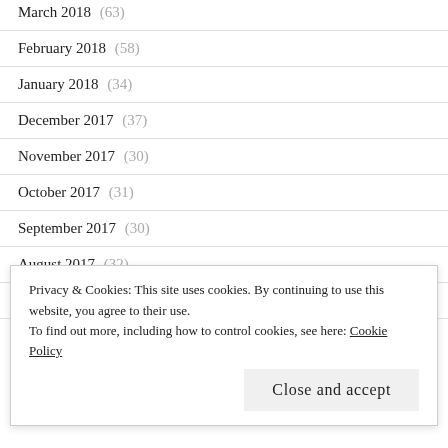March 2018 (63)
February 2018 (58)
January 2018 (34)
December 2017 (37)
November 2017 (30)
October 2017 (31)
September 2017 (30)
August 2017 (32)
July 2017 (32)
June 2017 (30)
Privacy & Cookies: This site uses cookies. By continuing to use this website, you agree to their use.
To find out more, including how to control cookies, see here: Cookie Policy
Close and accept